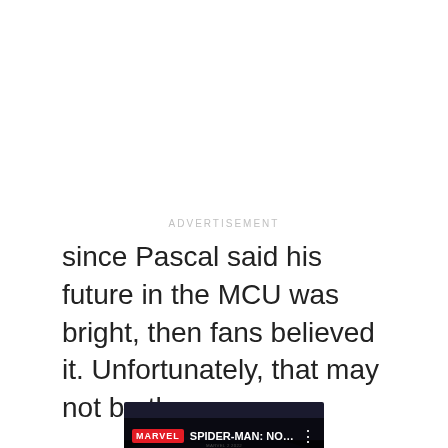ADVERTISEMENT
since Pascal said his future in the MCU was bright, then fans believed it. Unfortunately, that may not be the case.
[Figure (screenshot): YouTube video thumbnail for Marvel's Spider-Man: No Way Home official trailer, showing Spider-Man in a dark suit against a nighttime background with glowing lights. The video player shows the Marvel logo in red, the title 'SPIDER-MAN: NO WAY HOME - O...' with a play button overlay in the center.]